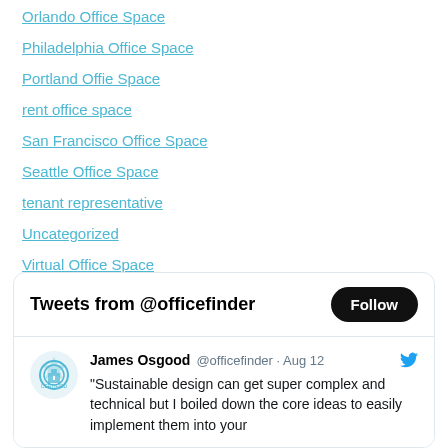Orlando Office Space
Philadelphia Office Space
Portland Offie Space
rent office space
San Francisco Office Space
Seattle Office Space
tenant representative
Uncategorized
Virtual Office Space
Virtual Tour
Workplace Strategies
[Figure (screenshot): Twitter widget showing 'Tweets from @officefinder' with a Follow button and a tweet from James Osgood @officefinder · Aug 12 with a certified logo avatar and text: "Sustainable design can get super complex and technical but I boiled down the core ideas to easily implement them into your"]